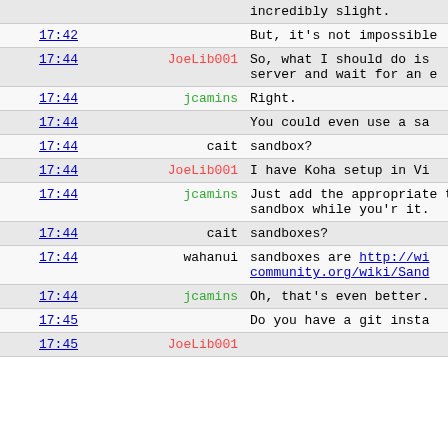| Time | User | Message |
| --- | --- | --- |
|  |  | incredibly slight. |
| 17:42 |  | But, it's not impossible |
| 17:44 | JoeLib001 | So, what I should do is server and wait for an e |
| 17:44 | jcamins | Right. |
| 17:44 |  | You could even use a sa |
| 17:44 | cait | sandbox? |
| 17:44 | JoeLib001 | I have Koha setup in Vi |
| 17:44 | jcamins | Just add the appropriate the sandbox while you're it. |
| 17:44 | cait | sandboxes? |
| 17:44 | wahanui | sandboxes are http://wi community.org/wiki/Sand |
| 17:44 | jcamins | Oh, that's even better. |
| 17:45 |  | Do you have a git insta |
| 17:45 | JoeLib001 |  |